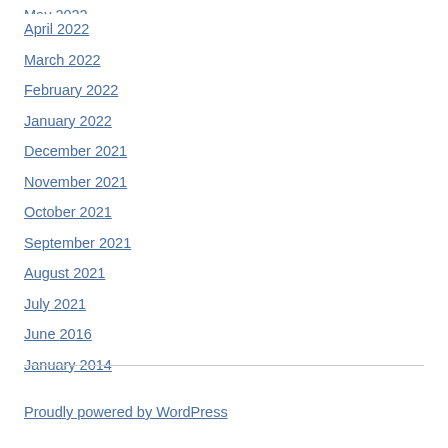May 2022
April 2022
March 2022
February 2022
January 2022
December 2021
November 2021
October 2021
September 2021
August 2021
July 2021
June 2016
January 2014
Proudly powered by WordPress